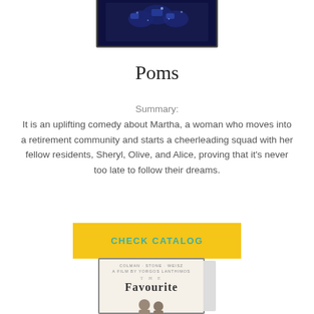[Figure (photo): Top portion of a DVD/movie case for 'Poms', partially visible, dark blue background with figures in blue costumes]
Poms
Summary:
It is an uplifting comedy about Martha, a woman who moves into a retirement community and starts a cheerleading squad with her fellow residents, Sheryl, Olive, and Alice, proving that it's never too late to follow their dreams.
CHECK CATALOG
[Figure (photo): Bottom portion of a DVD/movie case for 'The Favourite', cream/off-white background with text credits and title visible]